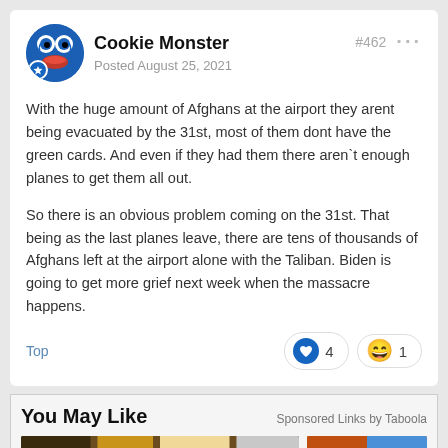Cookie Monster
Posted August 25, 2021
#462
With the huge amount of Afghans at the airport they arent being evacuated by the 31st, most of them dont have the green cards. And even if they had them there aren`t enough planes to get them all out.
So there is an obvious problem coming on the 31st. That being as the last planes leave, there are tens of thousands of Afghans left at the airport alone with the Taliban. Biden is going to get more grief next week when the massacre happens.
Top   ❤ 4   😄 1
You May Like   Sponsored Links by Taboola
[Figure (photo): Two thumbnail images for Taboola sponsored content]